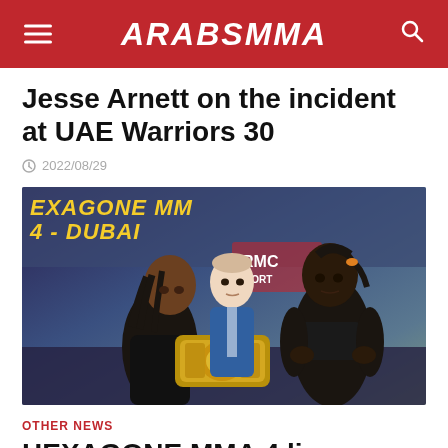ARABSMMA
Jesse Arnett on the incident at UAE Warriors 30
2022/08/29
[Figure (photo): Two female MMA fighters facing off at a weigh-in for HEXAGONE MMA 4 - DUBAI, with a championship belt between them and an official standing behind them.]
OTHER NEWS
HEXAGONE MMA 4 live